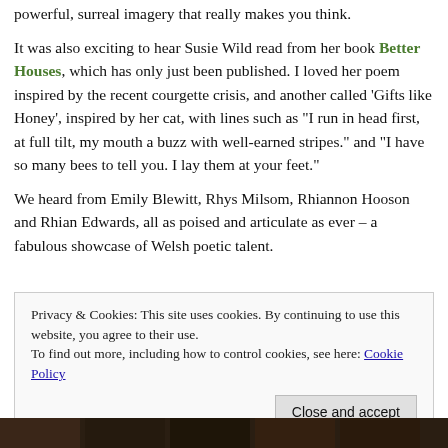powerful, surreal imagery that really makes you think.
It was also exciting to hear Susie Wild read from her book Better Houses, which has only just been published. I loved her poem inspired by the recent courgette crisis, and another called ‘Gifts like Honey’, inspired by her cat, with lines such as “I run in head first, at full tilt, my mouth a buzz with well-earned stripes.” and “I have so many bees to tell you. I lay them at your feet.”
We heard from Emily Blewitt, Rhys Milsom, Rhiannon Hooson and Rhian Edwards, all as poised and articulate as ever – a fabulous showcase of Welsh poetic talent.
Privacy & Cookies: This site uses cookies. By continuing to use this website, you agree to their use.
To find out more, including how to control cookies, see here: Cookie Policy
Close and accept
[Figure (photo): Bottom strip showing a partial photo of people, dark tones]